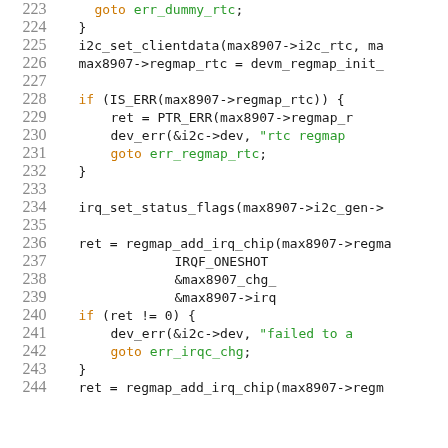[Figure (screenshot): Source code listing in C showing lines 223-244 of a kernel/driver file, with syntax highlighting. Line numbers in gray on the left, keywords in orange, string literals in green, and goto labels in green.]